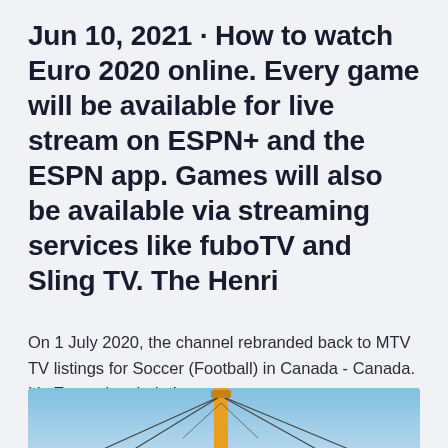Jun 10, 2021 · How to watch Euro 2020 online. Every game will be available for live stream on ESPN+ and the ESPN app. Games will also be available via streaming services like fuboTV and Sling TV. The Henri
On 1 July 2020, the channel rebranded back to MTV TV listings for Soccer (Football) in Canada - Canada. It's Euros time baby!
[Figure (photo): A construction crane against a blue sky, showing the mast and cable rigging from a low angle]